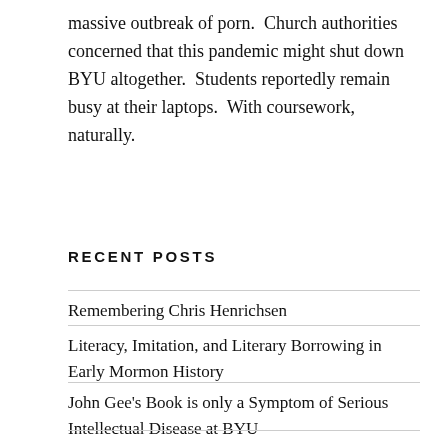massive outbreak of porn.  Church authorities concerned that this pandemic might shut down BYU altogether.  Students reportedly remain busy at their laptops.  With coursework, naturally.
RECENT POSTS
Remembering Chris Henrichsen
Literacy, Imitation, and Literary Borrowing in Early Mormon History
John Gee's Book is only a Symptom of Serious Intellectual Disease at BYU
Sensationalism? Nauvoo and the Angst of Tradition